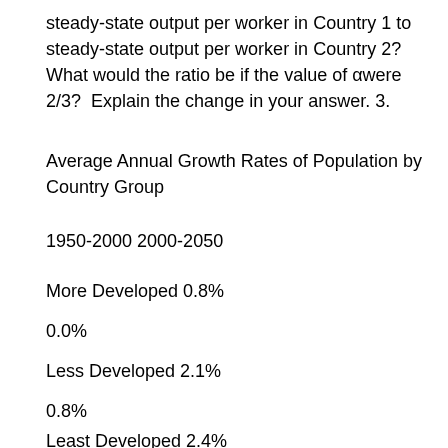steady-state output per worker in Country 1 to steady-state output per worker in Country 2? What would the ratio be if the value of α were 2/3?  Explain the change in your answer. 3.
Average Annual Growth Rates of Population by Country Group
1950-2000 2000-2050
More Developed 0.8%
0.0%
Less Developed 2.1%
0.8%
Least Developed 2.4%